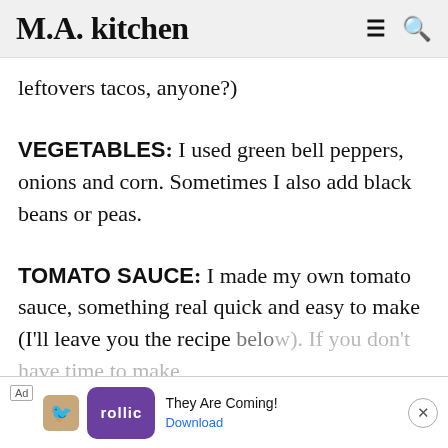M.A. kitchen
leftovers tacos, anyone?)
VEGETABLES: I used green bell peppers, onions and corn. Sometimes I also add black beans or peas.
TOMATO SAUCE: I made my own tomato sauce, something real quick and easy to make (I'll leave you the recipe below). If you don't have time to make you... h of
[Figure (screenshot): Advertisement banner at bottom: Ad label, bird icon, purple Rollic logo, text 'They Are Coming!', Download button in blue, X close button]